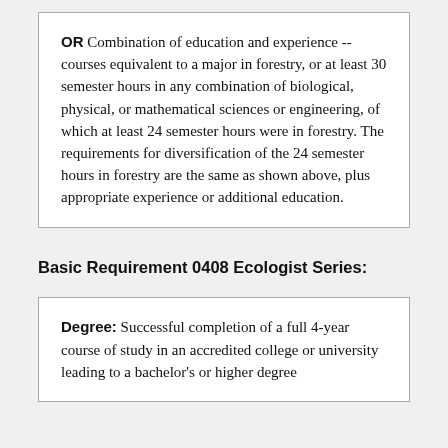OR Combination of education and experience -- courses equivalent to a major in forestry, or at least 30 semester hours in any combination of biological, physical, or mathematical sciences or engineering, of which at least 24 semester hours were in forestry. The requirements for diversification of the 24 semester hours in forestry are the same as shown above, plus appropriate experience or additional education.
Basic Requirement 0408 Ecologist Series:
Degree: Successful completion of a full 4-year course of study in an accredited college or university leading to a bachelor's or higher degree